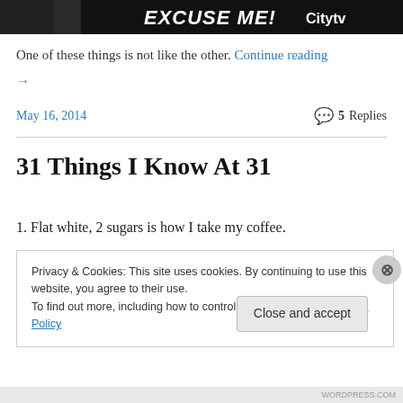[Figure (screenshot): Dark banner image with white bold text 'EXCUSE ME!' and 'Citytv' logo on right, partial faces visible]
One of these things is not like the other. Continue reading →
May 16, 2014
5 Replies
31 Things I Know At 31
1. Flat white, 2 sugars is how I take my coffee.
Privacy & Cookies: This site uses cookies. By continuing to use this website, you agree to their use.
To find out more, including how to control cookies, see here: Cookie Policy